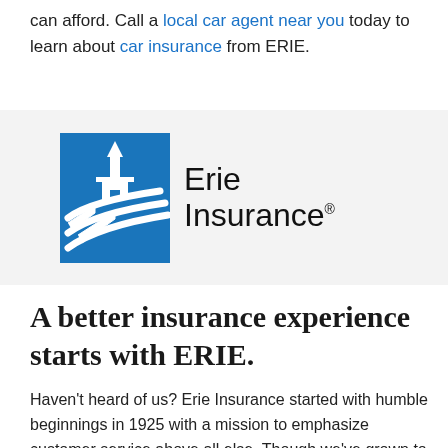can afford. Call a local car agent near you today to learn about car insurance from ERIE.
[Figure (logo): Erie Insurance logo: blue square with white building/chevron graphic, beside 'Erie Insurance' text with registered trademark symbol]
A better insurance experience starts with ERIE.
Haven't heard of us? Erie Insurance started with humble beginnings in 1925 with a mission to emphasize customer service above all else. Though we've grown to reach the Fortune 500